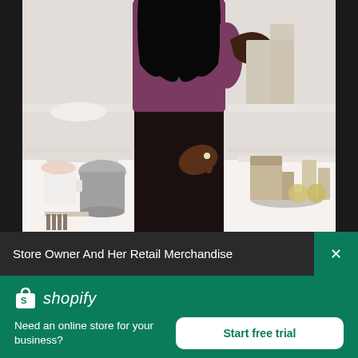[Figure (photo): A woman (store owner) wearing a purple top and black skirt standing in a retail/home goods store environment with shelves containing ceramic items, containers, and small products in the background.]
Store Owner And Her Retail Merchandise
[Figure (logo): Shopify logo — shopping bag icon with letter S, followed by italic text 'shopify' in white on green background]
Need an online store for your business?
Start free trial